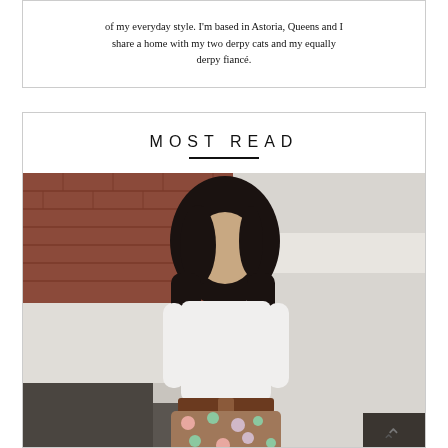of my everyday style. I'm based in Astoria, Queens and I share a home with my two derpy cats and my equally derpy fiancé.
MOST READ
[Figure (photo): Young Asian woman with long dark hair wearing a white long-sleeve top, brown belt, and floral skirt, standing outdoors against a brick wall background]